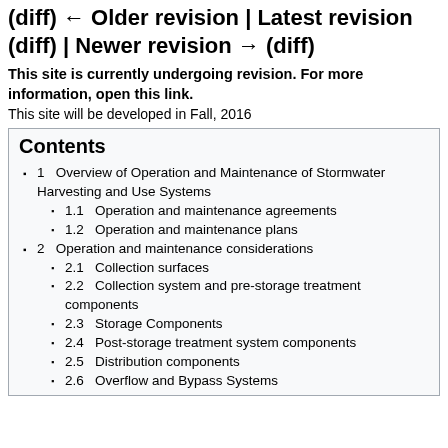(diff) ← Older revision | Latest revision (diff) | Newer revision → (diff)
This site is currently undergoing revision. For more information, open this link.
This site will be developed in Fall, 2016
Contents
1  Overview of Operation and Maintenance of Stormwater Harvesting and Use Systems
1.1  Operation and maintenance agreements
1.2  Operation and maintenance plans
2  Operation and maintenance considerations
2.1  Collection surfaces
2.2  Collection system and pre-storage treatment components
2.3  Storage Components
2.4  Post-storage treatment system components
2.5  Distribution components
2.6  Overflow and Bypass Systems